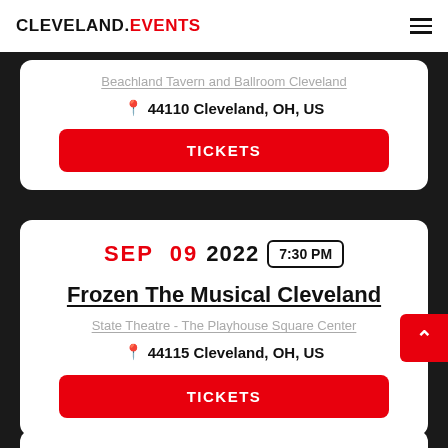CLEVELAND.EVENTS
Beachland Tavern and Ballroom Cleveland
44110 Cleveland, OH, US
TICKETS
SEP 09 2022 7:30 PM
Frozen The Musical Cleveland
State Theatre - The Playhouse Square Center
44115 Cleveland, OH, US
TICKETS